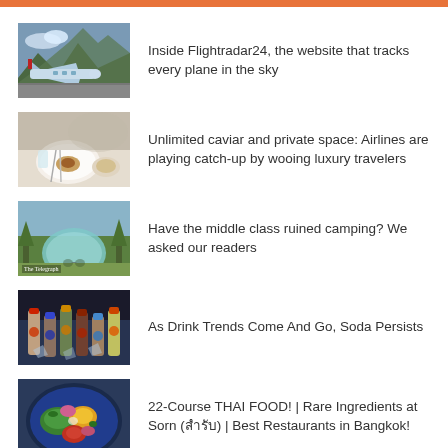[Figure (photo): Airplane on tarmac with mountains in background]
Inside Flightradar24, the website that tracks every plane in the sky
[Figure (photo): Luxury airline dining with caviar and fine dishes]
Unlimited caviar and private space: Airlines are playing catch-up by wooing luxury travelers
[Figure (photo): Glamping tent/dome in outdoor setting with The Telegraph watermark]
Have the middle class ruined camping? We asked our readers
[Figure (photo): Colorful soda and drink bottles on ice]
As Drink Trends Come And Go, Soda Persists
[Figure (photo): Thai food colorful dish on blue plate]
22-Course THAI FOOD! | Rare Ingredients at Sorn (สำรับ) | Best Restaurants in Bangkok!